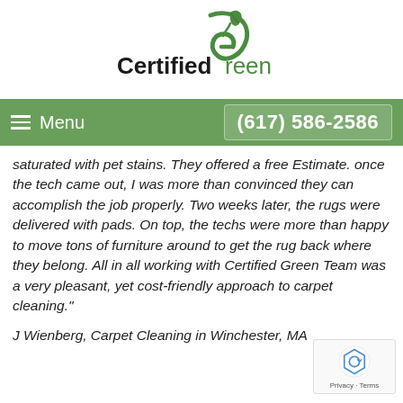[Figure (logo): Certified Green logo with a green leaf/plant stylized as a G, text reads Certified Green]
Menu   (617) 586-2586
saturated with pet stains. They offered a free Estimate. once the tech came out, I was more than convinced they can accomplish the job properly. Two weeks later, the rugs were delivered with pads. On top, the techs were more than happy to move tons of furniture around to get the rug back where they belong. All in all working with Certified Green Team was a very pleasant, yet cost-friendly approach to carpet cleaning."
J Wienberg, Carpet Cleaning in Winchester, MA